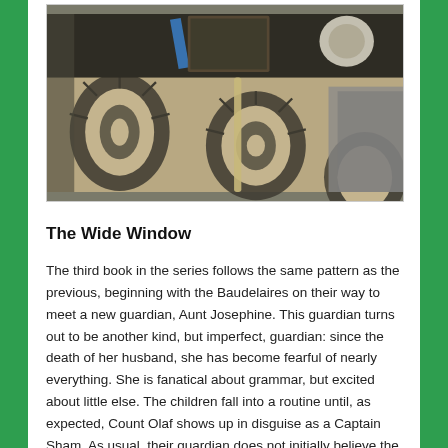[Figure (photo): A photograph showing decorative patterned fabric/pillows with leaf and shell motifs in gray and tan tones, along with what appears to be books and other objects in the background.]
The Wide Window
The third book in the series follows the same pattern as the previous, beginning with the Baudelaires on their way to meet a new guardian, Aunt Josephine. This guardian turns out to be another kind, but imperfect, guardian: since the death of her husband, she has become fearful of nearly everything. She is fanatical about grammar, but excited about little else. The children fall into a routine until, as expected, Count Olaf shows up in disguise as a Captain Sham. As usual, their guardian does not initially believe the children, although she does eventually realize Olaf's plot. The problem, of course, is that she is too afraid